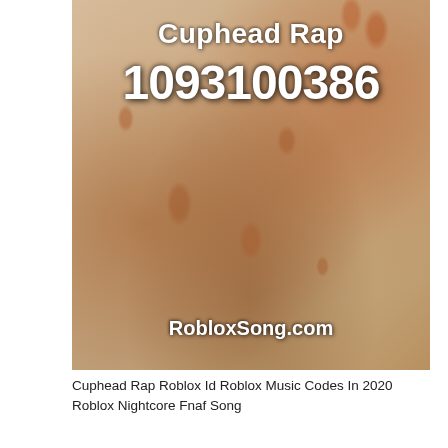[Figure (photo): Background photo of a stone/concrete wall with orange-brown handprints, overlaid with white bold text showing 'Cuphead Rap', '1093100386', and 'RobloxSong.com']
Cuphead Rap Roblox Id Roblox Music Codes In 2020 Roblox Nightcore Fnaf Song